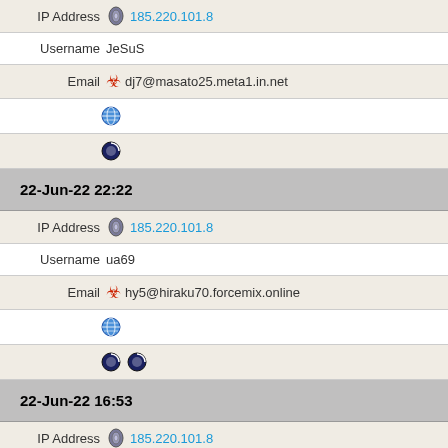IP Address 185.220.101.8
Username JeSuS
Email dj7@masato25.meta1.in.net
[globe icon]
[opera icon]
22-Jun-22 22:22
IP Address 185.220.101.8
Username ua69
Email hy5@hiraku70.forcemix.online
[globe icon]
[opera icons x2]
22-Jun-22 16:53
IP Address 185.220.101.8
Username andredu2
Email beatricesh18@kunio110.hiraku94.kiyoakari.xyz
[globe icon]